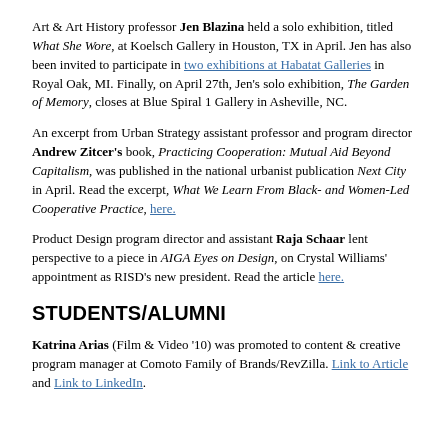Art & Art History professor Jen Blazina held a solo exhibition, titled What She Wore, at Koelsch Gallery in Houston, TX in April. Jen has also been invited to participate in two exhibitions at Habatat Galleries in Royal Oak, MI. Finally, on April 27th, Jen's solo exhibition, The Garden of Memory, closes at Blue Spiral 1 Gallery in Asheville, NC.
An excerpt from Urban Strategy assistant professor and program director Andrew Zitcer's book, Practicing Cooperation: Mutual Aid Beyond Capitalism, was published in the national urbanist publication Next City in April. Read the excerpt, What We Learn From Black- and Women-Led Cooperative Practice, here.
Product Design program director and assistant Raja Schaar lent perspective to a piece in AIGA Eyes on Design, on Crystal Williams' appointment as RISD's new president. Read the article here.
STUDENTS/ALUMNI
Katrina Arias (Film & Video '10) was promoted to content & creative program manager at Comoto Family of Brands/RevZilla. Link to Article and Link to LinkedIn.